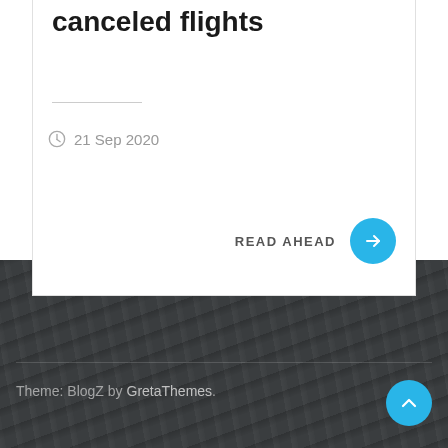canceled flights
21 Sep 2020
READ AHEAD
Theme: BlogZ by GretaThemes.